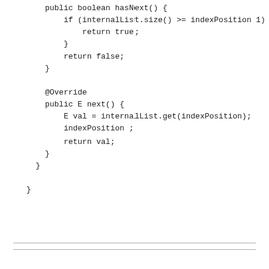public boolean hasNext() {
    if (internalList.size() >= indexPosition 1) {
        return true;
    }
    return false;
}

@Override
public E next() {
    E val = internalList.get(indexPosition);
    indexPosition ;
    return val;
}
    }

}